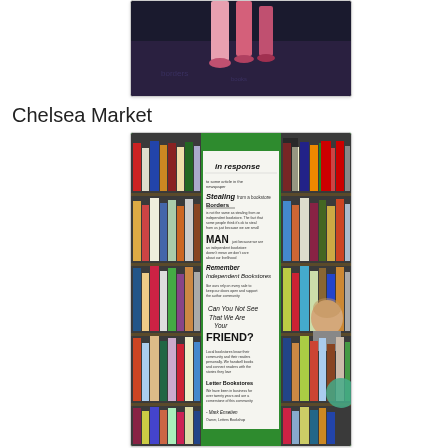[Figure (photo): Photo showing figures standing on a patterned floor/carpet, partially cropped, dark background]
Chelsea Market
[Figure (photo): Photo of a bookstore at Chelsea Market featuring a green column/pillar with a handwritten note/sign that reads 'in response', 'Stealing', 'Borders', 'MAN', 'Remember Independent Bookstores', 'Can You Not See That We Are Your FRIEND?', signed by Mark Ensetien. Bookshelves with books visible on both sides.]